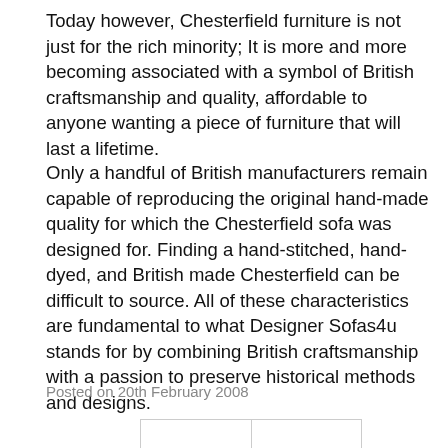Today however, Chesterfield furniture is not just for the rich minority; It is more and more becoming associated with a symbol of British craftsmanship and quality, affordable to anyone wanting a piece of furniture that will last a lifetime.
Only a handful of British manufacturers remain capable of reproducing the original hand-made quality for which the Chesterfield sofa was designed for. Finding a hand-stitched, hand-dyed, and British made Chesterfield can be difficult to source. All of these characteristics are fundamental to what Designer Sofas4u stands for by combining British craftsmanship with a passion to preserve historical methods and designs.
Posted on 20th February 2008
|  |  |
| --- | --- |